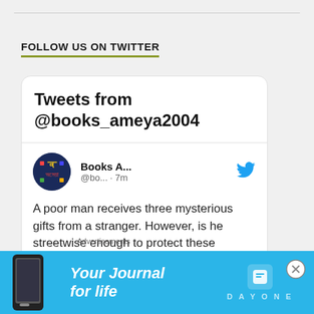FOLLOW US ON TWITTER
[Figure (screenshot): Twitter widget showing tweets from @books_ameya2004, with a tweet card displaying Books A... @bo... · 7m and tweet text: A poor man receives three mysterious gifts from a stranger. However, is he streetwise enough to protect these presents from]
Advertisements
[Figure (infographic): Advertisement banner for Day One journal app with text 'Your Journal for life' on a blue background with phone mockup and Day One logo]